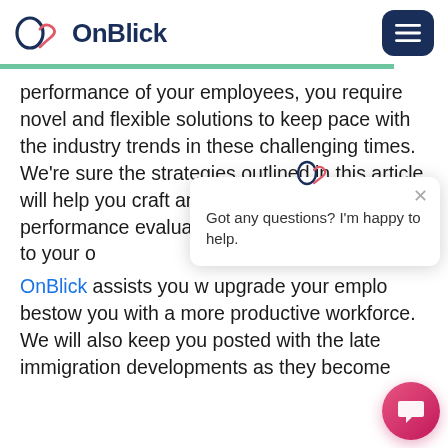OnBlick
performance of your employees, you require novel and flexible solutions to keep pace with the industry trends in these challenging times. We're sure the strategies outlined in this article will help you craft an effective system for performance evaluation that in turn contributes to your o…
OnBlick assists you with… upgrade your emplo… bestow you with a more productive workforce. We will also keep you posted with the late… immigration developments as they become… available. To keep you…
[Figure (other): Chat popup with OnBlick logo icon and text: Got any questions? I'm happy to help. With a close (×) button.]
[Figure (other): Pink/red circular chat FAB button with chat icon]